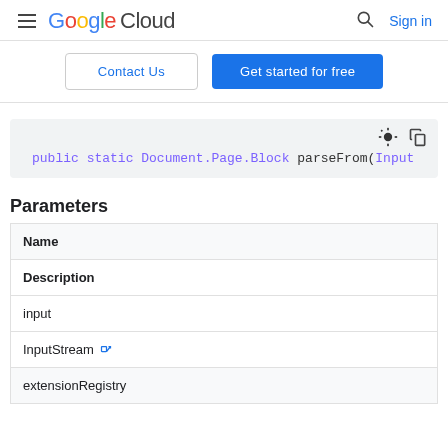Google Cloud — Sign in
Contact Us | Get started for free
[Figure (screenshot): Code block showing: public static Document.Page.Block parseFrom(Input]
Parameters
| Name | Description |
| --- | --- |
| input | InputStream [external link] |
| extensionRegistry |  |